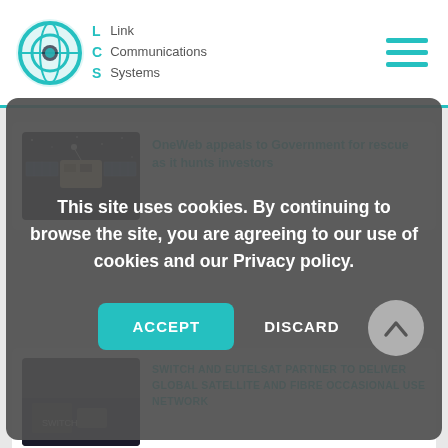[Figure (logo): Link Communications Systems logo with teal globe icon and navigation hamburger menu]
[Figure (photo): Satellite in space against dark background]
OneWeb appeals to Government for rescue as it hunts investors
This site uses cookies. By continuing to browse the site, you are agreeing to our use of cookies and our Privacy policy.
ACCEPT
DISCARD
[Figure (photo): Partial photo of equipment/building at bottom]
SWITCH AND EUTELSAT PARTNER TO DELIVER GLOBAL SATELLITE AND FIBRE OCCASIONAL USE NETWORK